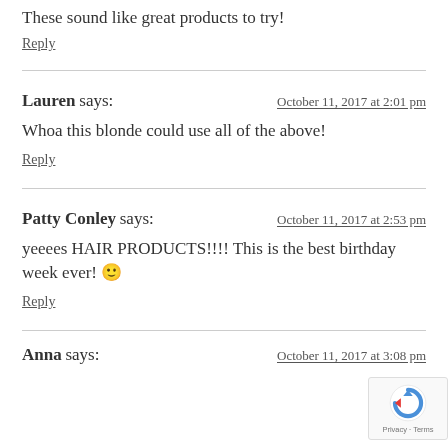These sound like great products to try!
Reply
Lauren says:
October 11, 2017 at 2:01 pm
Whoa this blonde could use all of the above!
Reply
Patty Conley says:
October 11, 2017 at 2:53 pm
yeeees HAIR PRODUCTS!!!! This is the best birthday week ever! 🙂
Reply
Anna says:
October 11, 2017 at 3:08 pm